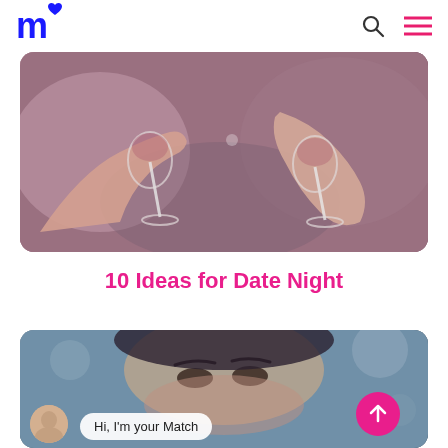m♥ (Match logo) with search and menu icons
[Figure (photo): Two hands clinking wine glasses, romantic date night scene with pink/purple tones]
10 Ideas for Date Night
[Figure (photo): Close-up of a woman's smiling eyes and face, with a chat bubble overlay reading 'Hi, I'm your Match' and a scroll-to-top pink button]